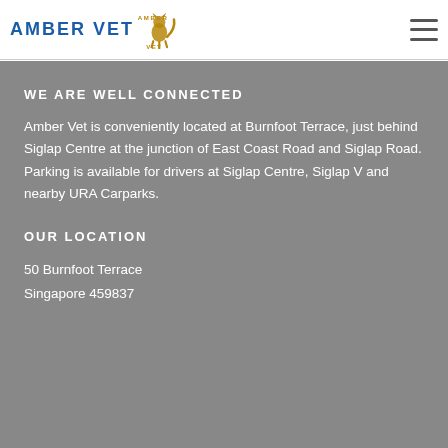[Figure (logo): Amber Vet logo with blue AMBER VET text and amber-colored animal emblem with paw/cat illustration]
WE ARE WELL CONNECTED
Amber Vet is conveniently located at Burnfoot Terrace, just behind Siglap Centre at the junction of East Coast Road and Siglap Road. Parking is available for drivers at Siglap Centre, Siglap V and nearby URA Carparks.
OUR LOCATION
50 Burnfoot Terrace
Singapore 459837